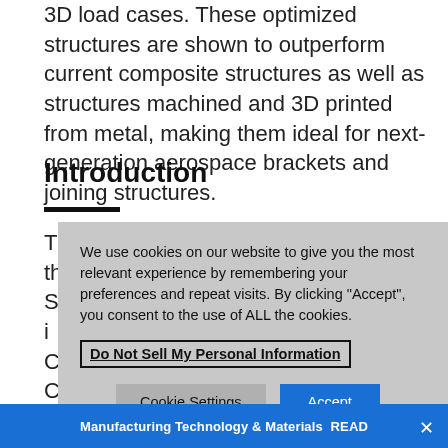3D load cases. These optimized structures are shown to outperform current composite structures as well as structures machined and 3D printed from metal, making them ideal for next-generation aerospace brackets and joining structures.
Introduction
The A350XWB and B787 were the first... So... in... C... C... Su...
[Figure (other): Cookie consent modal overlay with text: 'We use cookies on our website to give you the most relevant experience by remembering your preferences and repeat visits. By clicking "Accept", you consent to the use of ALL the cookies.' A 'Do Not Sell My Personal Information' link button, 'Cookie Settings' button, and 'Accept' button.]
Manufacturing Technology & Materials READ ×